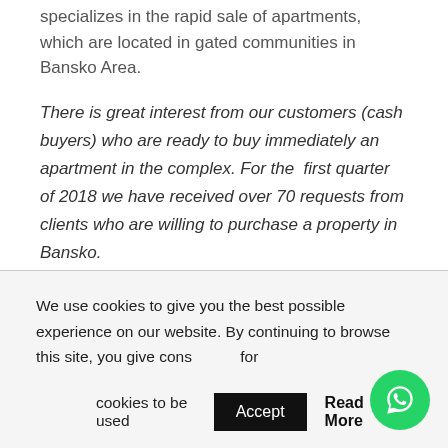specializes in the rapid sale of apartments, which are located in gated communities in Bansko Area.
There is great interest from our customers (cash buyers) who are ready to buy immediately an apartment in the complex. For the first quarter of 2018 we have received over 70 requests from clients who are willing to purchase a property in Bansko.
Basic search:
We use cookies to give you the best possible experience on our website. By continuing to browse this site, you give consent for cookies to be used
Accept  Read More